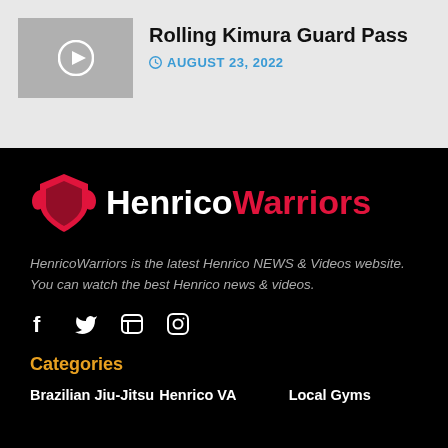[Figure (screenshot): Video thumbnail with play button icon on gray background]
Rolling Kimura Guard Pass
AUGUST 23, 2022
[Figure (logo): HenricoWarriors logo with red shield icon and text 'HenricoWarriors' where 'Henrico' is white and 'Warriors' is red]
HenricoWarriors is the latest Henrico NEWS & Videos website. You can watch the best Henrico news & videos.
[Figure (infographic): Social media icons: Facebook, Twitter, LinkedIn, Instagram]
Categories
Brazilian Jiu-Jitsu
Henrico VA
Local Gyms